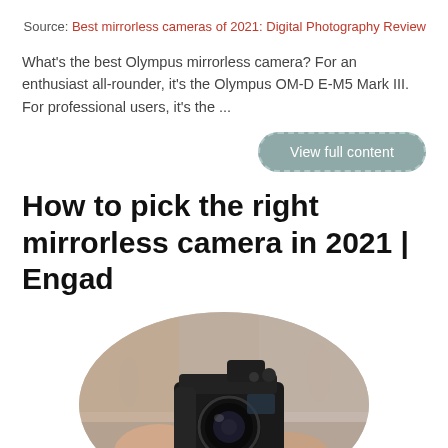Source: Best mirrorless cameras of 2021: Digital Photography Review
What's the best Olympus mirrorless camera? For an enthusiast all-rounder, it's the Olympus OM-D E-M5 Mark III. For professional users, it's the ...
View full content
How to pick the right mirrorless camera in 2021 | Engad
[Figure (photo): A person holding a mirrorless camera with an oval/rounded crop, blurred background showing people and a street scene.]